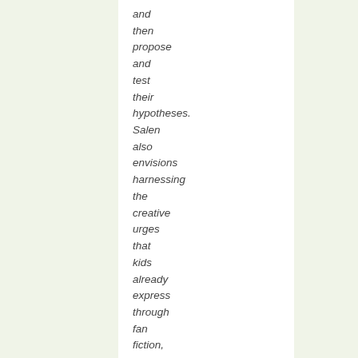and then propose and test their hypotheses. Salen also envisions harnessing the creative urges that kids already express through fan fiction, blogging and the creation of